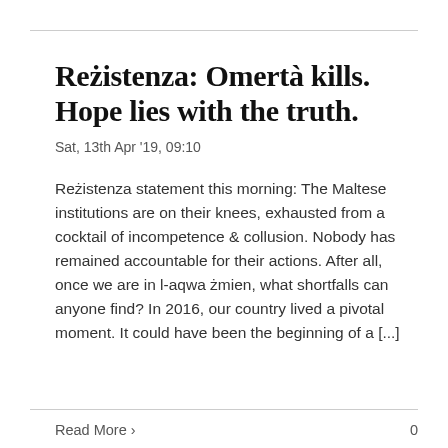Reżistenza: Omertà kills. Hope lies with the truth.
Sat, 13th Apr '19, 09:10
Reżistenza statement this morning: The Maltese institutions are on their knees, exhausted from a cocktail of incompetence & collusion. Nobody has remained accountable for their actions. After all, once we are in l-aqwa żmien, what shortfalls can anyone find? In 2016, our country lived a pivotal moment. It could have been the beginning of a [...]
Read More >
0